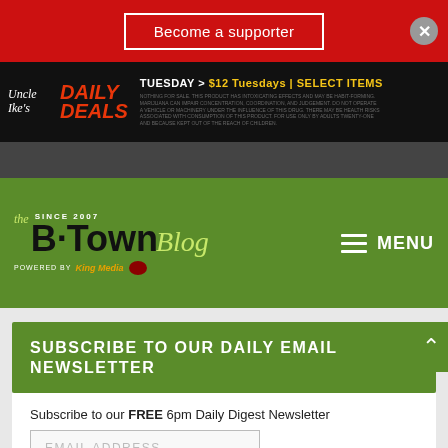Become a supporter
[Figure (advertisement): Uncle Ike's Daily Deals ad banner: TUESDAY > $12 Tuesdays | SELECT ITEMS]
[Figure (logo): the B·Town Blog - Since 2007 - Powered by King Media logo on green background]
SUBSCRIBE TO OUR DAILY EMAIL NEWSLETTER
Subscribe to our FREE 6pm Daily Digest Newsletter
EMAIL ADDRESS
SUBSCRIBE
English